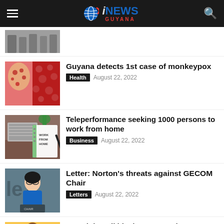iNEWS GUYANA
[Figure (photo): Partial thumbnail of people standing outdoors]
[Figure (photo): Close-up of skin with monkeypox lesions on red fabric]
Guyana detects 1st case of monkeypox
Health  August 22, 2022
[Figure (photo): Notebook with 'Work From Home' written on it on a desk with keyboard]
Teleperformance seeking 1000 persons to work from home
Business  August 22, 2022
[Figure (photo): Woman in blue blazer speaking at a podium with letters visible in background]
Letter: Norton's threats against GECOM Chair
Letters  August 22, 2022
[Figure (photo): Man in suit at a desk, partial view]
Remaining oil blocks: Approval process to be strengthened to avoid “flipping” – VP